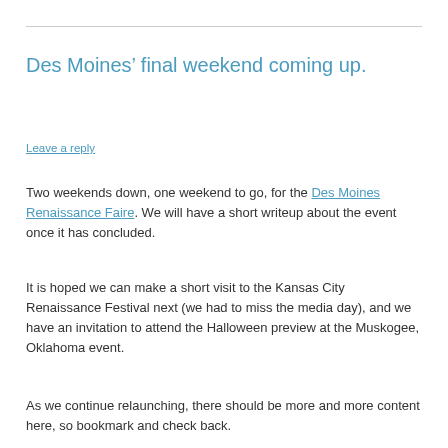Des Moines’ final weekend coming up.
Leave a reply
Two weekends down, one weekend to go, for the Des Moines Renaissance Faire. We will have a short writeup about the event once it has concluded.
It is hoped we can make a short visit to the Kansas City Renaissance Festival next (we had to miss the media day), and we have an invitation to attend the Halloween preview at the Muskogee, Oklahoma event.
As we continue relaunching, there should be more and more content here, so bookmark and check back.